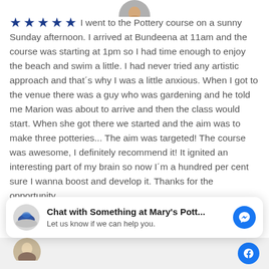[Figure (photo): Partial circular avatar image at top center, cropped at the bottom of the frame]
★★★★★ I went to the Pottery course on a sunny Sunday afternoon. I arrived at Bundeena at 11am and the course was starting at 1pm so I had time enough to enjoy the beach and swim a little. I had never tried any artistic approach and that´s why I was a little anxious. When I got to the venue there was a guy who was gardening and he told me Marion was about to arrive and then the class would start. When she got there we started and the aim was to make three potteries... The aim was targeted! The course was awesome, I definitely recommend it! It ignited an interesting part of my brain so now I´m a hundred per cent sure I wanna boost and develop it. Thanks for the opportunity.
[Figure (screenshot): Chat widget: avatar of a blue pottery bowl, text 'Chat with Something at Mary's Pott...' and 'Let us know if we can help you.' with a Facebook Messenger icon button]
[Figure (photo): Partial circular avatar image at bottom left, partially visible]